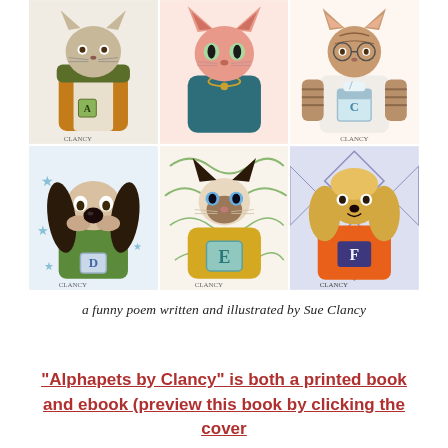[Figure (illustration): A 3x2 grid of six illustrated animal characters dressed in human clothing. Top row: a cat in a yellow/mustard jacket labeled CLANCY, a pink/hairless cat in a teal hoodie, a tabby cat in a white t-shirt with a cup graphic labeled CLANCY. Bottom row: a basset hound in a green shirt with a letter D tag, a Siamese cat in a yellow sweater with letter E, a golden poodle in an orange jersey with letter F.]
a funny poem written and illustrated by Sue Clancy
“Alphapets by Clancy” is both a printed book and ebook (preview this book by clicking the cover